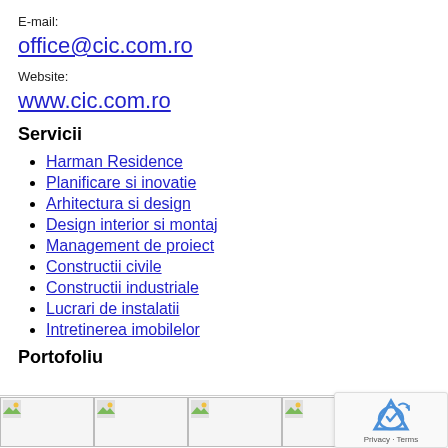E-mail:
office@cic.com.ro
Website:
www.cic.com.ro
Servicii
Harman Residence
Planificare si inovatie
Arhitectura si design
Design interior si montaj
Management de proiect
Constructii civile
Constructii industriale
Lucrari de instalatii
Intretinerea imobilelor
Portofoliu
[Figure (photo): Thumbnail images row at bottom of page]